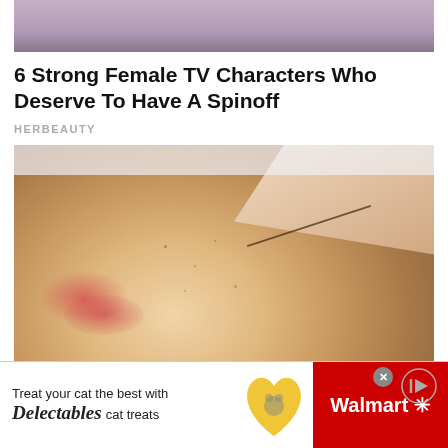[Figure (photo): Partial top image showing a person with purple/mauve colored background — top portion of a face or head]
6 Strong Female TV Characters Who Deserve To Have A Spinoff
HERBEAUTY
[Figure (photo): Close-up photo of a woman's face lying down, with freckles and pink/red lipstick, receiving a beauty or acupuncture treatment with a tool near her eye/cheek area, held by someone's hand with tweezers]
The Real Truth About The Pain Caused By
[Figure (photo): Advertisement banner: Walmart ad for Delectables cat treats featuring cat image, heart shape, and Walmart logo on red background. Text: Treat your cat the best with Delectables cat treats. Walmart logo with snowflake symbol.]